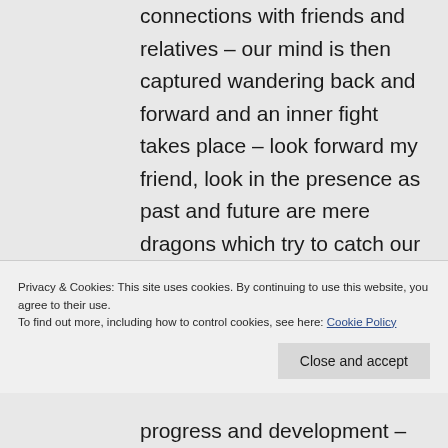connections with friends and relatives – our mind is then captured wandering back and forward and an inner fight takes place – look forward my friend, look in the presence as past and future are mere dragons which try to catch our attention. Start enjoying the little things and
Privacy & Cookies: This site uses cookies. By continuing to use this website, you agree to their use. To find out more, including how to control cookies, see here: Cookie Policy
progress and development –